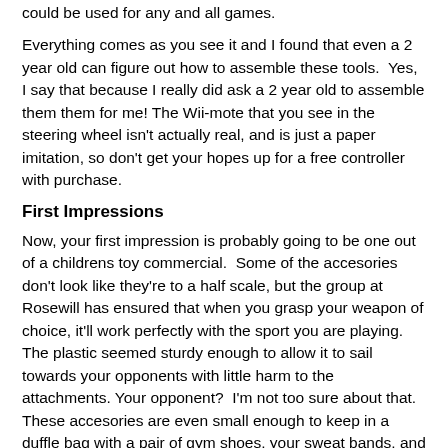could be used for any and all games.
Everything comes as you see it and I found that even a 2 year old can figure out how to assemble these tools.  Yes, I say that because I really did ask a 2 year old to assemble them them for me! The Wii-mote that you see in the steering wheel isn't actually real, and is just a paper imitation, so don't get your hopes up for a free controller with purchase.
First Impressions
Now, your first impression is probably going to be one out of a childrens toy commercial.  Some of the accesories don't look like they're to a half scale, but the group at Rosewill has ensured that when you grasp your weapon of choice, it'll work perfectly with the sport you are playing. The plastic seemed sturdy enough to allow it to sail towards your opponents with little harm to the attachments. Your opponent?  I'm not too sure about that. These accesories are even small enough to keep in a duffle bag with a pair of gym shoes, your sweat bands, and your favourite athletic drink!  Boy do I feel Geeky now!
The Wheels On The Bus...